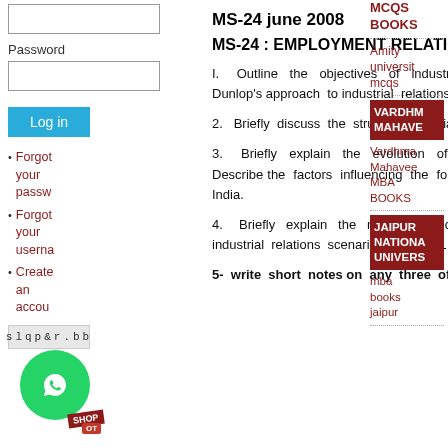Password
Log in
Forgot your password
Forgot your username
Create an account
MS-24   june 2008
MS-24 : EMPLOYMENT RELATIONS
I.   Outline  the  objectives  of  industrial relations.   Briefly   explain  Dunlop's approach  to industrial  relations.
2.   Briefly  discuss  the  structure  of Indian  trade  unions  .
3.   Briefly  explain  the  evolution  of managerial  unions  in  India.  Describe the  factors  influencing  the  formation of managerial  unions  in India.
4.   Briefly  explain  the  major perspectives  that  are  dominating the industrial  relations  scenario  since 1991
5-  write  short  notes on  any  three  of the  following  :
MCQS
BOOKS
Amity university mcqs
[Figure (other): VARDHMAN MAHAVEER banner]
Vardhman Mahaveer MBA BOOKS
[Figure (other): JAIPUR NATIONAL UNIVERSITY banner]
mba books jaipur